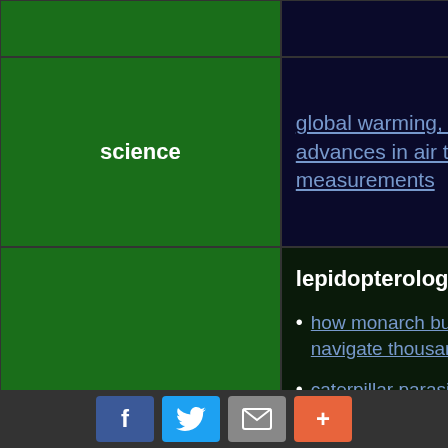| Category | Topic | Date |
| --- | --- | --- |
| science | global warming, recent advances in air temperature measurements | 14 August |
| science | lepidopterology:
• how monarch butterflies navigate thousands of miles
• caterpillar parasites prompt hosts to go seek out poison to kill off the parasites! | 4 August |